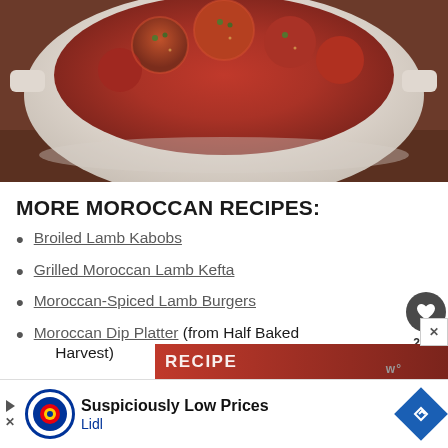[Figure (photo): Close-up photo of Moroccan meatballs or similar dish in a white ceramic bowl with red tomato sauce, garnished with herbs]
MORE MOROCCAN RECIPES:
Broiled Lamb Kabobs
Grilled Moroccan Lamb Kefta
Moroccan-Spiced Lamb Burgers
Moroccan Dip Platter (from Half Baked Harvest)
[Figure (screenshot): Partial advertisement banner at the bottom showing Lidl logo with text 'Suspiciously Low Prices' and 'Lidl']